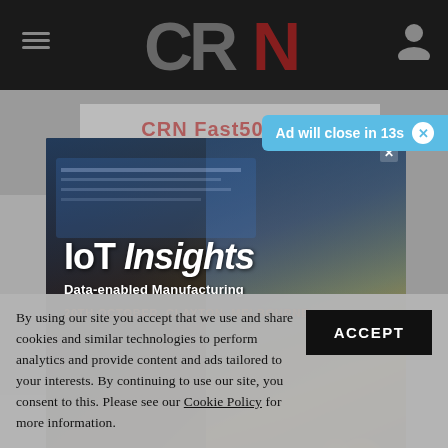[Figure (screenshot): CRN website header with dark background, hamburger menu, CRN logo, and profile icon]
Ad will close in 13s ✕
[Figure (photo): IoT Insights advertisement modal showing a female worker in hard hat and hi-vis vest in an industrial setting with data visualizations overlay. Text: 'IoT Insights Data-enabled Manufacturing 20TH OCTOBER, CLAYTON, MELBOURNE']
By using our site you accept that we use and share cookies and similar technologies to perform analytics and provide content and ads tailored to your interests. By continuing to use our site, you consent to this. Please see our Cookie Policy for more information.